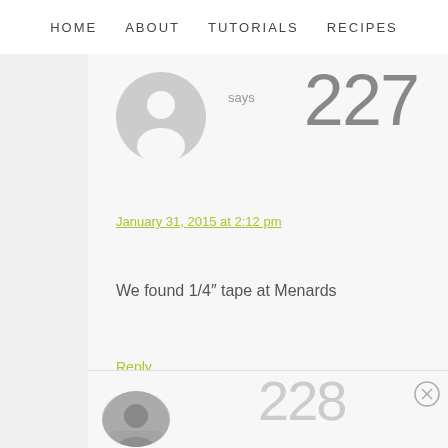HOME   ABOUT   TUTORIALS   RECIPES
says
227
January 31, 2015 at 2:12 pm
We found 1/4” tape at Menards
Reply
[Figure (illustration): Generic user avatar circle with person silhouette]
228
[Figure (photo): Profile photo of a person]